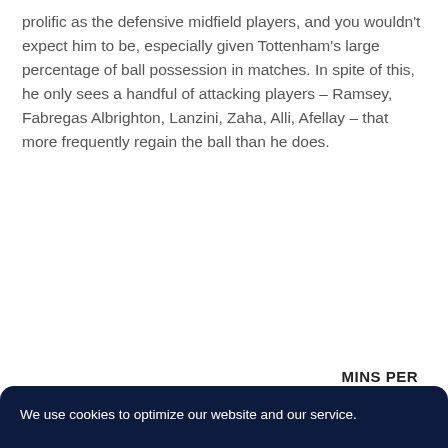prolific as the defensive midfield players, and you wouldn't expect him to be, especially given Tottenham's large percentage of ball possession in matches. In spite of this, he only sees a handful of attacking players – Ramsey, Fabregas Albrighton, Lanzini, Zaha, Alli, Afellay – that more frequently regain the ball than he does.
MINS PER
We use cookies to optimize our website and our service.
ACCEPT ALL COOKIES
DENY
Cookie policy  Privacy Policy